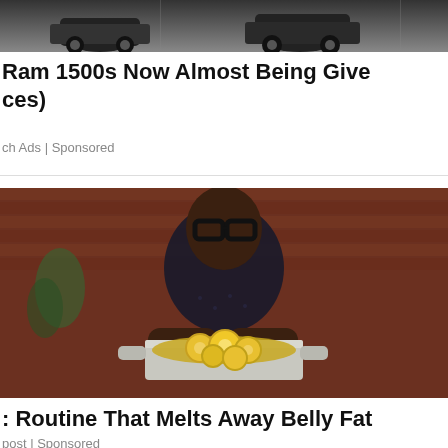[Figure (photo): Partial top image of vehicles, cropped at top of page]
Ram 1500s Now Almost Being Giveaway (ces)
ch Ads | Sponsored
[Figure (photo): Man with glasses holding a pot of lemon slices, sponsored advertisement image]
: Routine That Melts Away Belly Fat
post | Sponsored